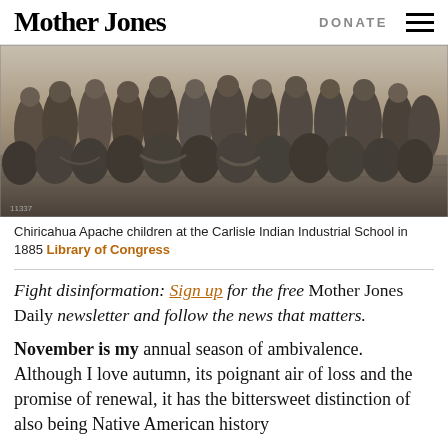Mother Jones  DONATE
[Figure (photo): Black and white photograph of Chiricahua Apache children at the Carlisle Indian Industrial School in 1885, showing a group of children seated and standing outdoors.]
Chiricahua Apache children at the Carlisle Indian Industrial School in 1885 Library of Congress
Fight disinformation: Sign up for the free Mother Jones Daily newsletter and follow the news that matters.
November is my annual season of ambivalence. Although I love autumn, its poignant air of loss and the promise of renewal, it has the bittersweet distinction of also being Native American history